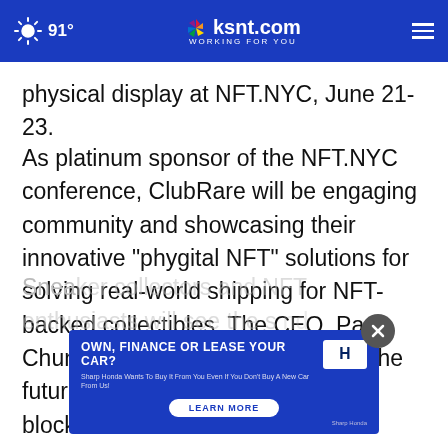91° | ksnt.com WORKING FOR YOU
physical display at NFT.NYC, June 21-23.
As platinum sponsor of the NFT.NYC conference, ClubRare will be engaging community and showcasing their innovative "phygital NFT" solutions for solving real-world shipping for NFT-backed collectibles. The CEO, Paul Chung, will be delivering a talk on the future of e-commerce on the blockchain.
Sneaker collectors and NFT enthusiasts will see the s... nd
[Figure (screenshot): Advertisement banner: OWN, FINANCE OR LEASE YOUR CAR? Sharp Honda Wants To Buy It From You Even If You Don't Buy A New Car From Us! LEARN MORE — Honda logo, Sharp Honda branding]